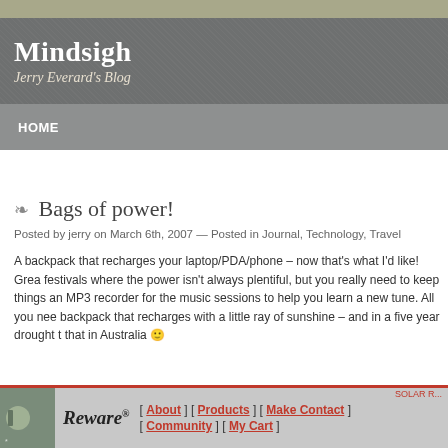Mindsigh — Jerry Everard's Blog
HOME
Bags of power!
Posted by jerry on March 6th, 2007 — Posted in Journal, Technology, Travel
A backpack that recharges your laptop/PDA/phone – now that's what I'd like! Great for festivals where the power isn't always plentiful, but you really need to keep things going – an MP3 recorder for the music sessions to help you learn a new tune. All you need is a backpack that recharges with a little ray of sunshine – and in a five year drought that in Australia 🙂
[Figure (screenshot): Reware solar backpack advertisement with navigation links: About, Products, Make Contact, Community, My Cart]